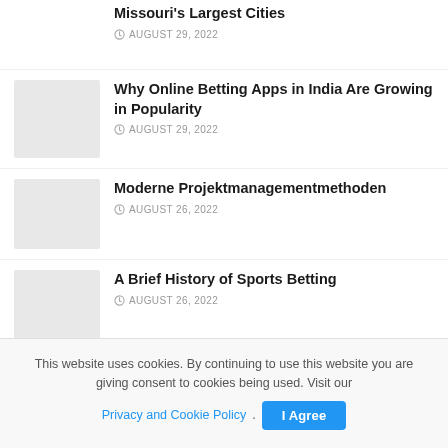Missouri's Largest Cities — AUGUST 29, 2022
Why Online Betting Apps in India Are Growing in Popularity — AUGUST 29, 2022
Moderne Projektmanagementmethoden — AUGUST 26, 2022
A Brief History of Sports Betting — AUGUST 26, 2022
How to scan to Pay on MyJio? – Reliance Jio UPI Payment
This website uses cookies. By continuing to use this website you are giving consent to cookies being used. Visit our Privacy and Cookie Policy. I Agree